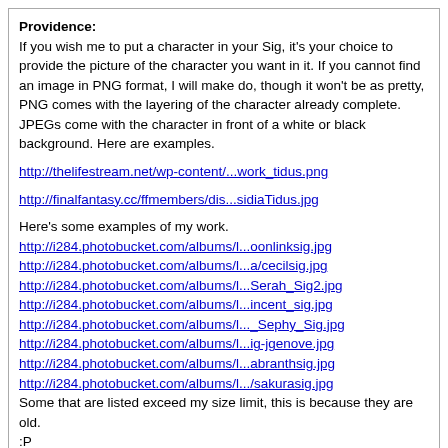Providence:
If you wish me to put a character in your Sig, it's your choice to provide the picture of the character you want in it. If you cannot find an image in PNG format, I will make do, though it won't be as pretty, PNG comes with the layering of the character already complete. JPEGs come with the character in front of a white or black background. Here are examples.
http://thelifestream.net/wp-content/...work_tidus.png
http://finalfantasy.cc/ffmembers/dis...sidiaTidus.jpg
Here's some examples of my work.
http://i284.photobucket.com/albums/l...oonlinksig.jpg
http://i284.photobucket.com/albums/l...a/cecilsig.jpg
http://i284.photobucket.com/albums/l...Serah_Sig2.jpg
http://i284.photobucket.com/albums/l...incent_sig.jpg
http://i284.photobucket.com/albums/l..._Sephy_Sig.jpg
http://i284.photobucket.com/albums/l...ig-jgenove.jpg
http://i284.photobucket.com/albums/l...abranthsig.jpg
http://i284.photobucket.com/albums/l.../sakurasig.jpg
Some that are listed exceed my size limit, this is because they are old.
:P
If your request meets these requirements, I will be HAPPY to make you one. Be sure to at least tell people about me if you put credit, I like making Sigs. :D